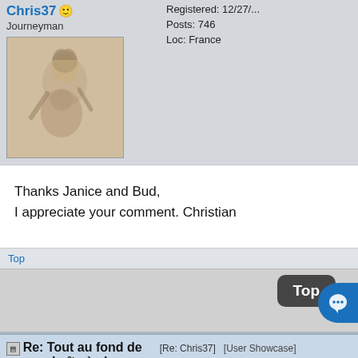Chris37 [smiley]
Journeyman
[Figure (photo): Avatar image of a person playing guitar, sketched/sepia tone]
Registered: 12/27/...
Posts: 746
Loc: France
Thanks Janice and Bud,
I appreciate your comment. Christian
Top
Re: Tout au fond de ma boîte à chansons [Re: Chris37]
[User Showcase]  #581329 - 02/17/20  01:19 PM
dcuny [smiley]
Veteran
Registered: 09/27/...
Posts: 51...
Loc: Sacramento, Californ...